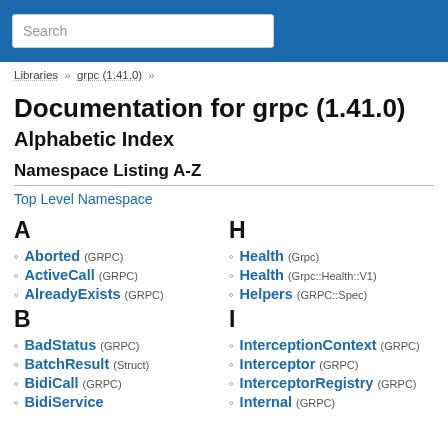Search
Libraries >> grpc (1.41.0) >>
Documentation for grpc (1.41.0)
Alphabetic Index
Namespace Listing A-Z
Top Level Namespace
A
Aborted (GRPC)
ActiveCall (GRPC)
AlreadyExists (GRPC)
B
BadStatus (GRPC)
BatchResult (Struct)
BidiCall (GRPC)
BidiService
H
Health (Grpc)
Health (Grpc::Health::V1)
Helpers (GRPC::Spec)
I
InterceptionContext (GRPC)
Interceptor (GRPC)
InterceptorRegistry (GRPC)
Internal (GRPC)